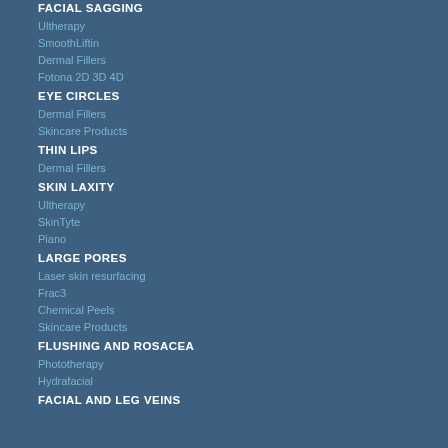FACIAL SAGGING
Ultherapy
SmoothLiftin
Dermal Fillers
Fotona 2D 3D 4D
EYE CIRCLES
Dermal Fillers
Skincare Products
THIN LIPS
Dermal Fillers
SKIN LAXITY
Ultherapy
SkinTyte
Piano
LARGE PORES
Laser skin resurfacing
Frac3
Chemical Peels
Skincare Products
FLUSHING AND ROSACEA
Phototherapy
Hydrafacial
FACIAL AND LEG VEINS